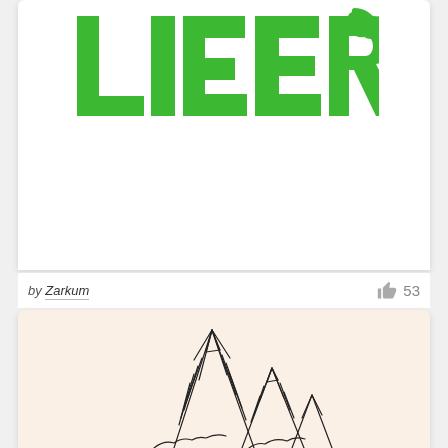[Figure (logo): Green stylized LIGER text logo with a lion/tiger hybrid silhouette incorporated into the lettering]
by Zarkum
53
[Figure (illustration): Black and white ink drawing of mountain peaks on a warm beige/cream background]